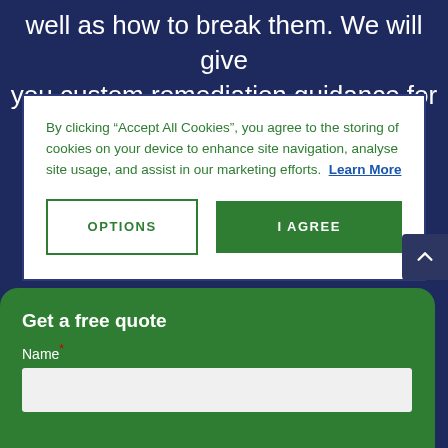well as how to break them. We will give you custom remediation guidance for
By clicking “Accept All Cookies”, you agree to the storing of cookies on your device to enhance site navigation, analyse site usage, and assist in our marketing efforts.  Learn More
OPTIONS
I AGREE
Get a free quote
Name*